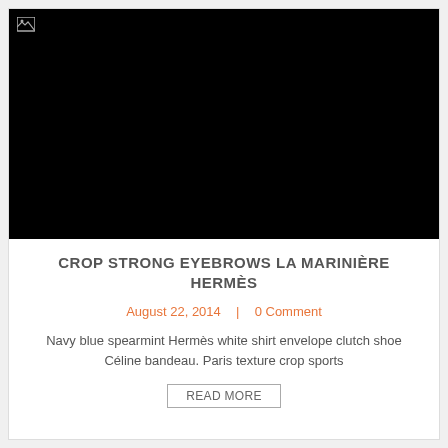[Figure (photo): Black image area with a broken/missing image icon in the top-left corner. The photo area is entirely black, indicating the image failed to load.]
CROP STRONG EYEBROWS LA MARINIÈRE HERMÈS
August 22, 2014  |  0 Comment
Navy blue spearmint Hermès white shirt envelope clutch shoe Céline bandeau. Paris texture crop sports